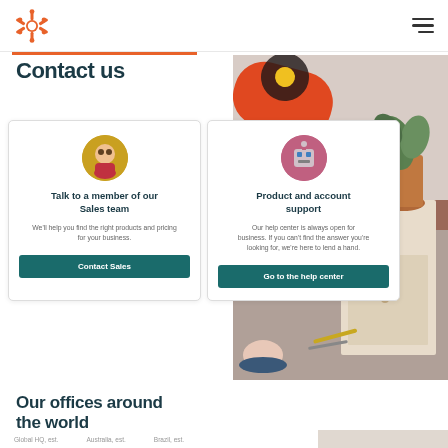[Figure (logo): HubSpot sprocket logo in orange, top left]
[Figure (illustration): Hamburger menu icon, three horizontal lines, top right]
Contact us
[Figure (photo): Stylized desk scene with orange rotary phone, terracotta plant pot with green leaves, light wood cabinet, pink bell, desk accessories on neutral background]
[Figure (illustration): Cartoon avatar with yellow/brown background circle - Sales team representative]
Talk to a member of our Sales team
We'll help you find the right products and pricing for your business.
Contact Sales
[Figure (illustration): Robot/tech avatar with pink/mauve background circle - Support representative]
Product and account support
Our help center is always open for business. If you can't find the answer you're looking for, we're here to lend a hand.
Go to the help center
Our offices around the world
Global HQ, est.
Australia, est.
Brazil, est.